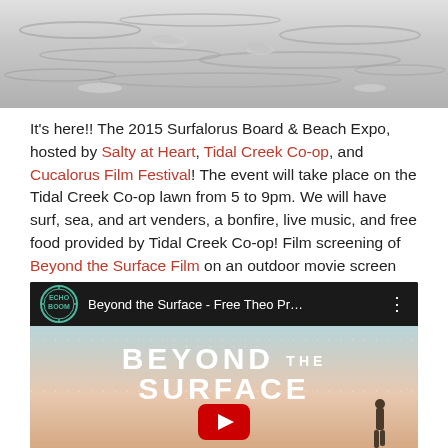[Figure (photo): Black and white aerial/close-up photograph of water waves and ripples]
It's here!! The 2015 Surfalorus Board & Beach Expo, hosted by Salty at Heart, Tidal Creek Co-op, and Cucalorus Film Festival! The event will take place on the Tidal Creek Co-op lawn from 5 to 9pm. We will have surf, sea, and art venders, a bonfire, live music, and free food provided by Tidal Creek Co-op! Film screening of Beyond the Surface Film on an outdoor movie screen will take place at sunset.
[Figure (screenshot): YouTube video thumbnail for 'Beyond the Surface - Free Theo Pr...' by Echo Boom channel, showing the film title 'BEYOND THE SURFACE' overlaid on a beach scene with silhouettes, with a YouTube play button in the center.]